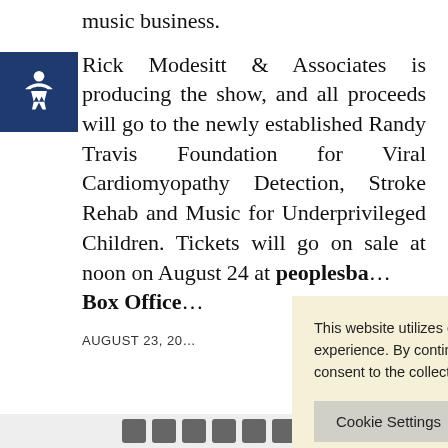music business.
Rick Modesitt & Associates is producing the show, and all proceeds will go to the newly established Randy Travis Foundation for Viral Cardiomyopathy Detection, Stroke Rehab and Music for Underprivileged Children. Tickets will go on sale at noon on August 24 at peoplesba… Box Office…
AUGUST 23, 20…
This website utilizes cookies to enhance your online experience. By continuing to use this website, you consent to the collection of all cookies.